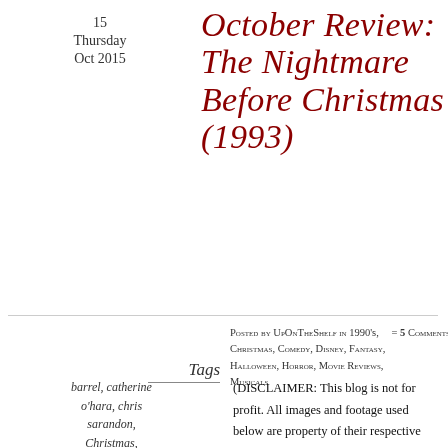15
Thursday
Oct 2015
October Review: The Nightmare Before Christmas (1993)
Posted by UpOnTheShelf in 1990's, Christmas, Comedy, Disney, Fantasy, Halloween, Horror, Movie Reviews, Musicals
= 5 Comments
Tags
barrel, catherine o'hara, chris sarandon, Christmas, christmas elves,
(DISCLAIMER: This blog is not for profit. All images and footage used below are property of their respective companies unless stated otherwise. I do not claim ownership of this material.)
[Figure (photo): Movie still from The Nightmare Before Christmas showing Jack Skellington silhouetted against a large orange moon on a dark background]